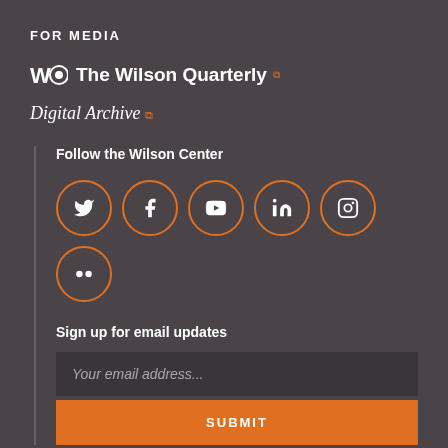FOR MEDIA
The Wilson Quarterly
Digital Archive
Follow the Wilson Center
[Figure (infographic): Social media icons in orange circles: Twitter, Facebook, YouTube, LinkedIn, Instagram, Flickr]
Sign up for email updates
Your email address...
SUBMIT